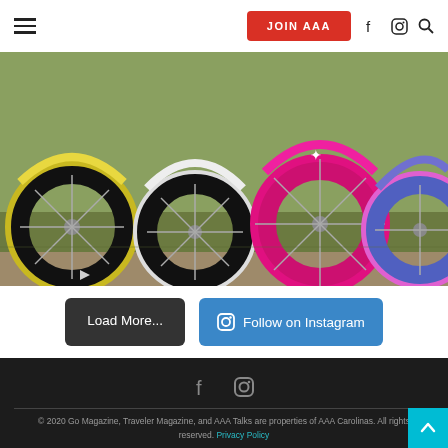≡  JOIN AAA  f  ⊙  🔍
[Figure (photo): Close-up of colorful bicycles (yellow, white/black, pink, blue/purple) parked on grass, showing front wheels and fenders.]
Load More...
Follow on Instagram
f  ⊙
© 2020 Go Magazine, Traveler Magazine, and AAA Talks are properties of AAA Carolinas. All rights reserved. Privacy Policy